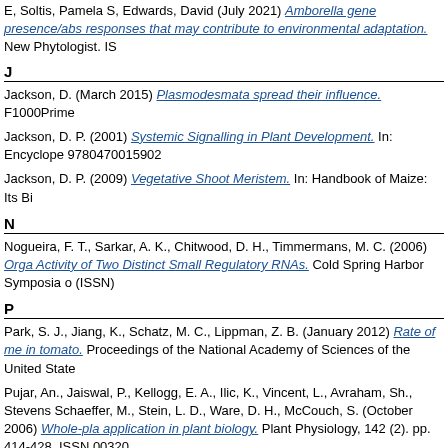E, Soltis, Pamela S, Edwards, David (July 2021) Amborella gene presence/absence responses that may contribute to environmental adaptation. New Phytologist. IS
J
Jackson, D. (March 2015) Plasmodesmata spread their influence. F1000Prime
Jackson, D. P. (2001) Systemic Signalling in Plant Development. In: Encyclopedia 9780470015902
Jackson, D. P. (2009) Vegetative Shoot Meristem. In: Handbook of Maize: Its Bi
N
Nogueira, F. T., Sarkar, A. K., Chitwood, D. H., Timmermans, M. C. (2006) Organ Activity of Two Distinct Small Regulatory RNAs. Cold Spring Harbor Symposia o (ISSN)
P
Park, S. J., Jiang, K., Schatz, M. C., Lippman, Z. B. (January 2012) Rate of me in tomato. Proceedings of the National Academy of Sciences of the United State
Pujar, An., Jaiswal, P., Kellogg, E. A., Ilic, K., Vincent, L., Avraham, Sh., Stevens Schaeffer, M., Stein, L. D., Ware, D. H., McCouch, S. (October 2006) Whole-pla application in plant biology. Plant Physiology, 142 (2). pp. 414-428. ISSN 00320